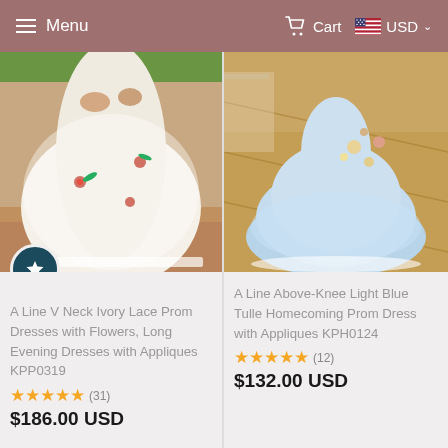Menu | Cart | USD
[Figure (photo): A Line V Neck Ivory Lace Prom Dress with floral appliques, showing lower half of dress outdoors on brick patio]
A Line V Neck Ivory Lace Prom Dresses with Flowers, Long Evening Dresses with Appliques KPP0319
★★★★★ (31)
$186.00 USD
[Figure (photo): A Line Above-Knee Light Blue Tulle Homecoming Prom Dress with floral appliques, short puffy skirt indoors]
A Line Above-Knee Light Blue Tulle Homecoming Prom Dress with Appliques KPH0124
★★★★★ (12)
$132.00 USD